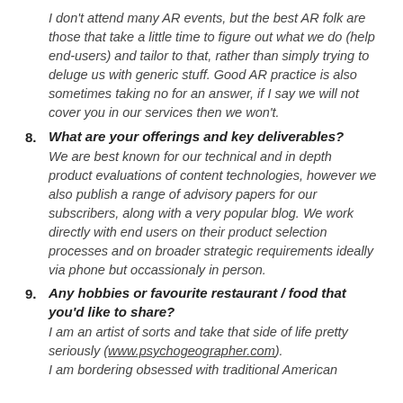I don't attend many AR events, but the best AR folk are those that take a little time to figure out what we do (help end-users) and tailor to that, rather than simply trying to deluge us with generic stuff. Good AR practice is also sometimes taking no for an answer, if I say we will not cover you in our services then we won't.
8. What are your offerings and key deliverables? We are best known for our technical and in depth product evaluations of content technologies, however we also publish a range of advisory papers for our subscribers, along with a very popular blog. We work directly with end users on their product selection processes and on broader strategic requirements ideally via phone but occassionaly in person.
9. Any hobbies or favourite restaurant / food that you'd like to share? I am an artist of sorts and take that side of life pretty seriously (www.psychogeographer.com). I am bordering obsessed with traditional American...